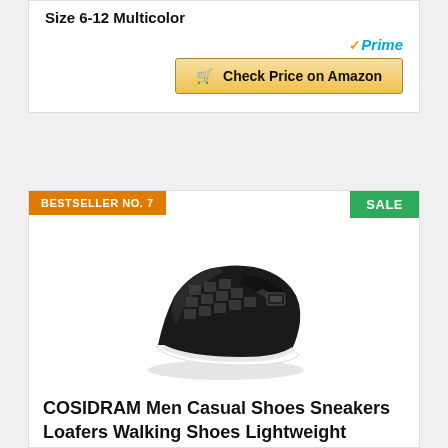Size 6-12 Multicolor
[Figure (logo): Amazon Prime checkmark logo]
Check Price on Amazon
BESTSELLER NO. 7
SALE
[Figure (photo): Black COSIDRAM men casual loafer shoe, shown at an angle on white background]
COSIDRAM Men Casual Shoes Sneakers Loafers Walking Shoes Lightweight Driving Business Office